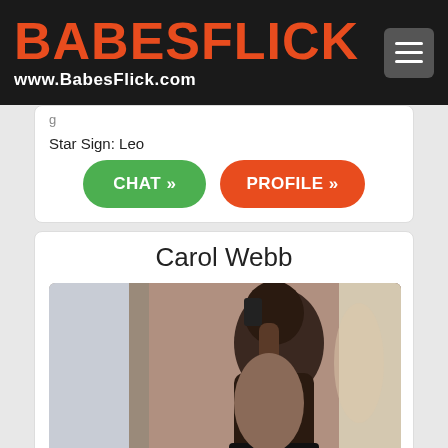BABESFLICK www.BabesFlick.com
Star Sign: Leo
CHAT » PROFILE »
Carol Webb
[Figure (photo): Profile photo of Carol Webb, a person photographed from behind/side in a mirror selfie setting]
User: CarolWebb